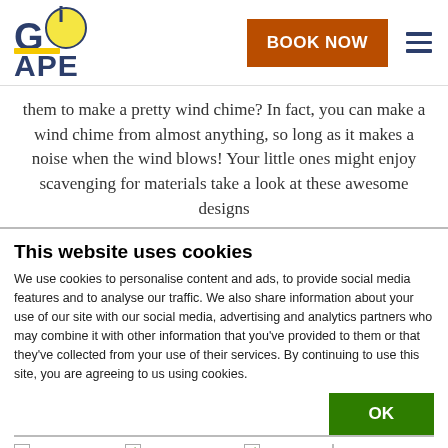[Figure (logo): Go Ape logo — stylized text with yellow globe and blue/yellow lettering]
them to make a pretty wind chime? In fact, you can make a wind chime from almost anything, so long as it makes a noise when the wind blows! Your little ones might enjoy scavenging for materials take a look at these awesome designs
This website uses cookies
We use cookies to personalise content and ads, to provide social media features and to analyse our traffic. We also share information about your use of our site with our social media, advertising and analytics partners who may combine it with other information that you've provided to them or that they've collected from your use of their services. By continuing to use this site, you are agreeing to us using cookies.
OK
Necessary  Preferences  Statistics  Marketing  Show details